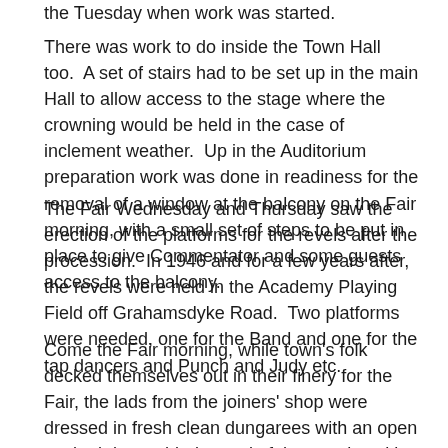the Tuesday when work was started.
There was work to do inside the Town Hall too.  A set of stairs had to be set up in the main Hall to allow access to the stage where the crowning would be held in the case of inclement weather.  Up in the Auditorium preparation work was done in readiness for the removal of a window at the balcony on the Fair morning, with a small set of steps to be put in place to give Commentator and some guests access to the balcony.
The Fair Wednesday and Thursday saw the erection of the platforms for the revels after the procession.  In 1946 and for a few years after, the revels were held in the Academy Playing Field off Grahamsdyke Road.  Two platforms were needed, one for the Band and one for the tap dancers and Punch and Judy etc.
Come the Fair morning, while town's folk decked themselves out in their finery for the Fair, the lads from the joiners' shop were dressed in fresh clean dungarees with an open necked dress shirt instead of the usual working shirt.   It was an early start on the Fair Day as first thing on the Fair morning one of the last jobs which had to be done was lining the Glebe Park with sawdust to mark